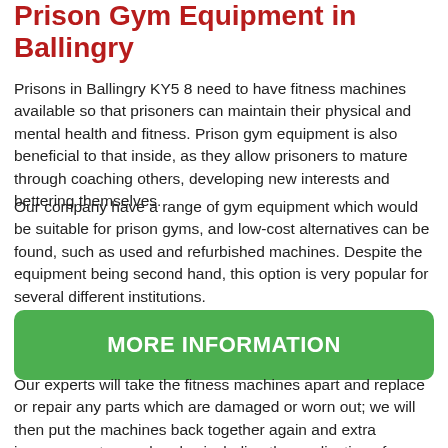Prison Gym Equipment in Ballingry
Prisons in Ballingry KY5 8 need to have fitness machines available so that prisoners can maintain their physical and mental health and fitness. Prison gym equipment is also beneficial to that inside, as they allow prisoners to mature through coaching others, developing new interests and bettering themselves.
Our company have a range of gym equipment which would be suitable for prison gyms, and low-cost alternatives can be found, such as used and refurbished machines. Despite the equipment being second hand, this option is very popular for several different institutions.
MORE INFORMATION
Our experts will take the fitness machines apart and replace or repair any parts which are damaged or worn out; we will then put the machines back together again and extra improvements may be also included including the application of any new interior items.